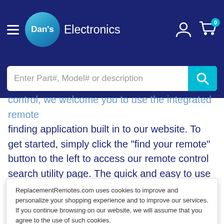Dan's Electronics
Enter Part#, Model# or description
control, we welcome you to use the integrated remote finding application built in to our website. To get started, simply click the “find your remote” button to the left to access our remote control search utility page. The quick and easy to use questionnaire on this page will ask you the brand and model of your remote
ReplacementRemotes.com uses cookies to improve and personalize your shopping experience and to improve our services. If you continue browsing on our website, we will assume that you agree to the use of such cookies.
Accept
with the proper product information once your Insignia